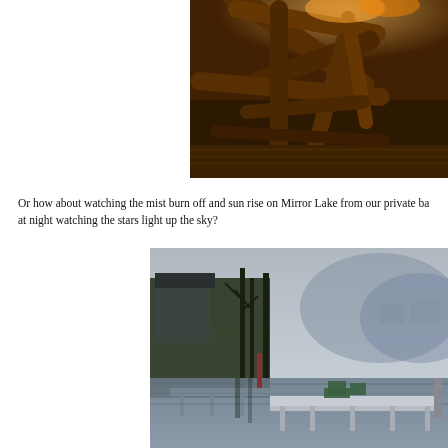[Figure (photo): Close-up photo of a rustic log cabin interior with warm amber lighting, showing wooden log beams, crossbars, and a deck or porch structure lit with warm lights at night.]
Or how about watching the mist burn off and sun rise on Mirror Lake from our private ba at night watching the stars light up the sky?
[Figure (photo): Photograph of Mirror Lake showing a calm lake with reflections, a dock with Adirondack chairs, bare trees and forested hills in the background, and a misty mountain scene.]